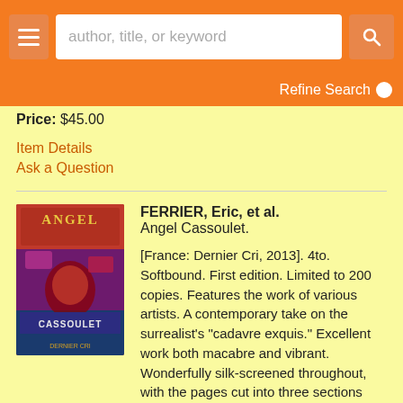author, title, or keyword [search bar] | Refine Search
Price: $45.00
Item Details
Ask a Question
[Figure (photo): Book cover of Angel Cassoulet showing colorful surrealist artwork with text ANGEL CASSOULET and DERNIER CRI]
FERRIER, Eric, et al.
Angel Cassoulet.
[France: Dernier Cri, 2013]. 4to. Softbound. First edition. Limited to 200 copies. Features the work of various artists. A contemporary take on the surrealist's "cadavre exquis." Excellent work both macabre and vibrant. Wonderfully silk-screened throughout, with the pages cut into three sections that can be flipped through to make endless..... More >